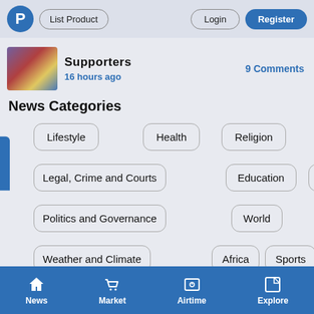P  List Product  Login  Register
Supporters
16 hours ago
9 Comments
News Categories
Lifestyle
Health
Religion
Legal, Crime and Courts
Education
Business
Politics and Governance
World
Weather and Climate
Africa
Sports
News  Market  Airtime  Explore